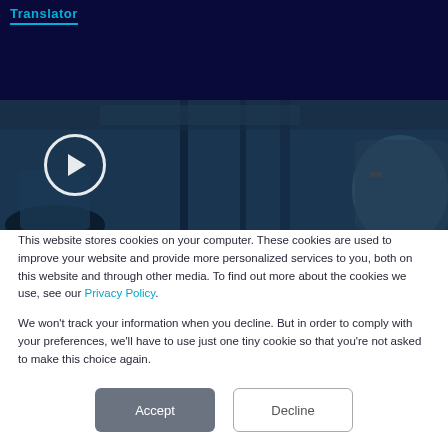Translator
[Figure (photo): Two people looking at server infrastructure/equipment in a data center, with a play button overlay indicating a video thumbnail]
This website stores cookies on your computer. These cookies are used to improve your website and provide more personalized services to you, both on this website and through other media. To find out more about the cookies we use, see our Privacy Policy.
We won't track your information when you decline. But in order to comply with your preferences, we'll have to use just one tiny cookie so that you're not asked to make this choice again.